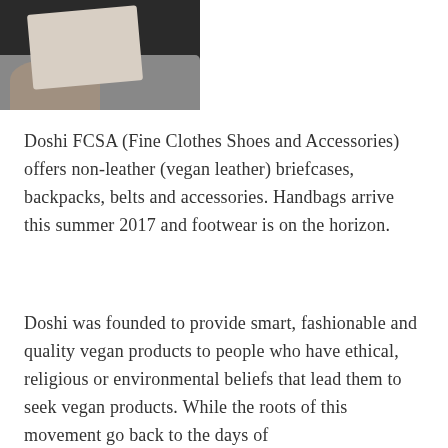[Figure (photo): A person in a grey skirt holding a light beige/cream structured handbag against a dark background.]
Doshi FCSA (Fine Clothes Shoes and Accessories) offers non-leather (vegan leather) briefcases, backpacks, belts and accessories. Handbags arrive this summer 2017 and footwear is on the horizon.
Doshi was founded to provide smart, fashionable and quality vegan products to people who have ethical, religious or environmental beliefs that lead them to seek vegan products. While the roots of this movement go back to the days of